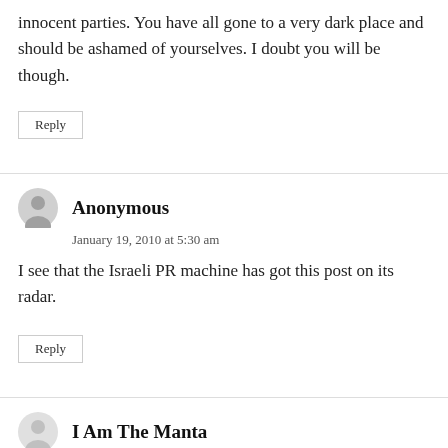innocent parties. You have all gone to a very dark place and should be ashamed of yourselves. I doubt you will be though.
Reply
Anonymous
January 19, 2010 at 5:30 am
I see that the Israeli PR machine has got this post on its radar.
Reply
I Am The Manta